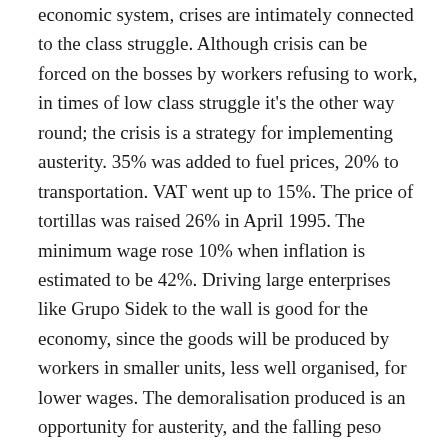economic system, crises are intimately connected to the class struggle. Although crisis can be forced on the bosses by workers refusing to work, in times of low class struggle it's the other way round; the crisis is a strategy for implementing austerity. 35% was added to fuel prices, 20% to transportation. VAT went up to 15%. The price of tortillas was raised 26% in April 1995. The minimum wage rose 10% when inflation is estimated to be 42%. Driving large enterprises like Grupo Sidek to the wall is good for the economy, since the goods will be produced by workers in smaller units, less well organised, for lower wages. The demoralisation produced is an opportunity for austerity, and the falling peso boosts exports and reduces imports. Many of the firms that went out of business during the February 1995 currency crisis couldn't pay off their workers.